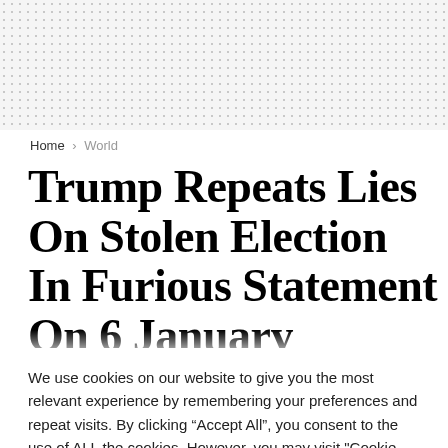[Figure (other): Dotted/stippled grey decorative background banner at top of page]
Home > World
Trump Repeats Lies On Stolen Election In Furious Statement On 6 January
We use cookies on our website to give you the most relevant experience by remembering your preferences and repeat visits. By clicking “Accept All”, you consent to the use of ALL the cookies. However, you may visit "Cookie Settings" to provide a controlled consent.
Cookie Settings | Accept All